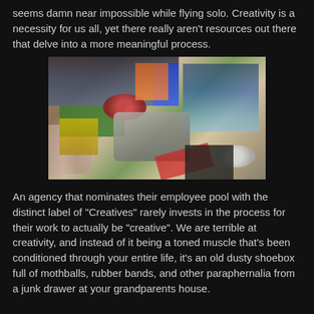seems damn near impossible while flying solo.  Creativity is a necessity for us all, yet there really aren't resources out there that delve into a more meaningful process.
[Figure (photo): A top-down photo of a cluttered junk drawer filled with miscellaneous tools and items including tape measures, scissors, pens, boxes, tape rolls, and various other paraphernalia.]
An agency that nominates their employee pool with the distinct label of "Creatives" rarely invests in the process for their work to actually be "creative".  We are terrible at creativity, and instead of it being a toned muscle that's been conditioned through your entire life, it's an old dusty shoebox full of mothballs, rubber bands, and other paraphernalia from a junk drawer at your grandparents house.